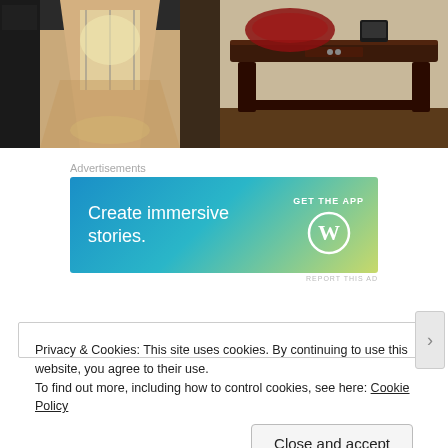[Figure (photo): Left photo: hotel or building lobby corridor with shiny tiled floor and glass doors at the end]
[Figure (photo): Right photo: dark wooden console table with a device/speaker on top, against a beige wall]
Advertisements
[Figure (infographic): Advertisement banner: 'Create immersive stories.' with 'GET THE APP' and WordPress logo icon]
REPORT THIS AD
Privacy & Cookies: This site uses cookies. By continuing to use this website, you agree to their use.
To find out more, including how to control cookies, see here: Cookie Policy
Close and accept